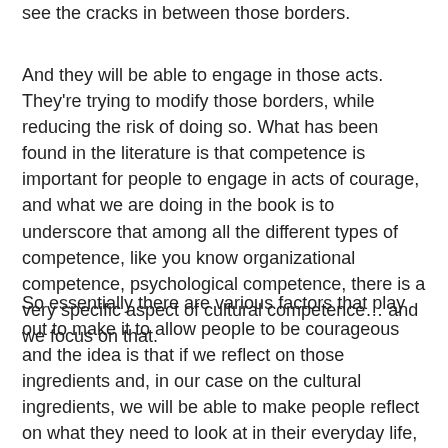see the cracks in between those borders.
And they will be able to engage in those acts. They're trying to modify those borders, while reducing the risk of doing so. What has been found in the literature is that competence is important for people to engage in acts of courage, and what we are doing in the book is to underscore that among all the different types of competence, like you know organizational competence, psychological competence, there is a very specific aspect of cultural competence… and we focus on that.
So essentially there are various factors that play out to make it to allow people to be courageous and the idea is that if we reflect on those ingredients and, in our case on the cultural ingredients, we will be able to make people reflect on what they need to look at in their everyday life, in order to be able to work what are the channels that can be conducive to change. […]